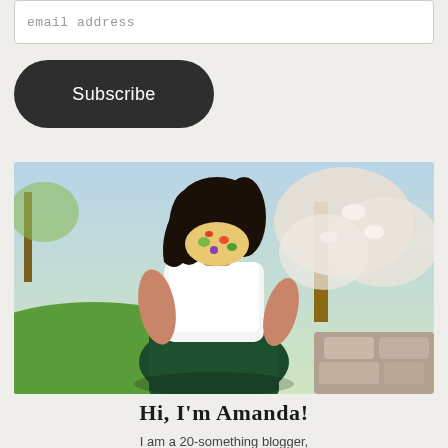email address
Subscribe
[Figure (photo): A woman wearing a white t-shirt, dark green skirt, and a floral face mask standing outdoors with green grass and blooming trees in the background.]
Hi, I'm Amanda!
I am a 20-something blogger,